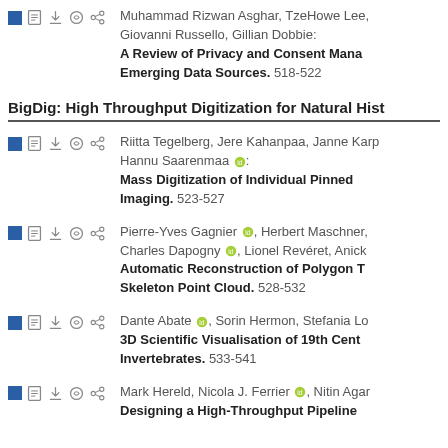Muhammad Rizwan Asghar, TzeHowe Lee, Giovanni Russello, Gillian Dobbie: A Review of Privacy and Consent Management in Emerging Data Sources. 518-522
BigDig: High Throughput Digitization for Natural History
Riitta Tegelberg, Jere Kahanpaa, Janne Karp, Hannu Saarenmaa: Mass Digitization of Individual Pinned Imaging. 523-527
Pierre-Yves Gagnier, Herbert Maschner, Charles Dapogny, Lionel Revéret, Anick: Automatic Reconstruction of Polygon T Skeleton Point Cloud. 528-532
Dante Abate, Sorin Hermon, Stefania Lo: 3D Scientific Visualisation of 19th Cent Invertebrates. 533-541
Mark Hereld, Nicola J. Ferrier, Nitin Agar: Designing a High-Throughput Pipeline